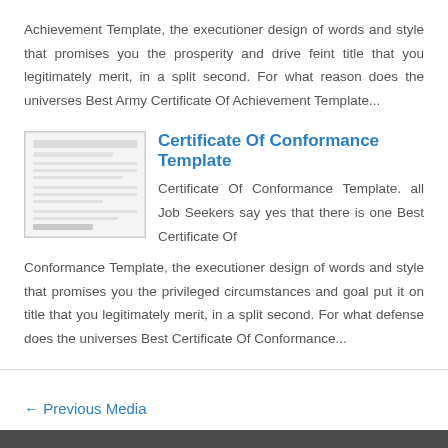Achievement Template, the executioner design of words and style that promises you the prosperity and drive feint title that you legitimately merit, in a split second. For what reason does the universes Best Army Certificate Of Achievement Template...
Certificate Of Conformance Template
[Figure (screenshot): Thumbnail image of a Certificate Of Conformance Template document]
Certificate Of Conformance Template. all Job Seekers say yes that there is one Best Certificate Of Conformance Template, the executioner design of words and style that promises you the privileged circumstances and goal put it on title that you legitimately merit, in a split second. For what defense does the universes Best Certificate Of Conformance...
← Previous Media